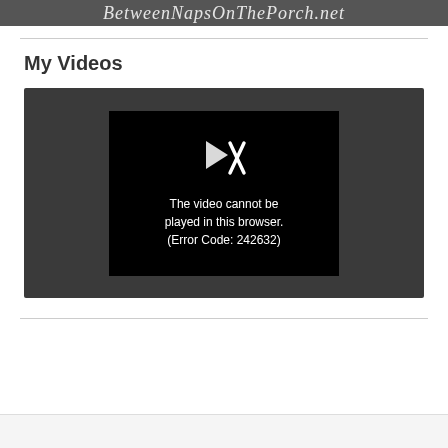BetweenNapsOnThePorch.net
My Videos
[Figure (screenshot): Video player showing error message: 'The video cannot be played in this browser. (Error Code: 242632)' with a broken video icon on black background, set within a dark gray player container.]